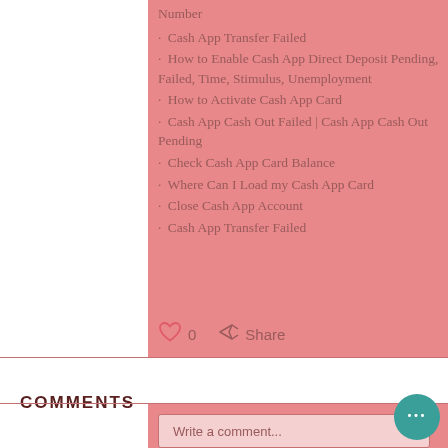Number
Cash App Transfer Failed
How to Enable Cash App Direct Deposit Pending, Failed, Time, Stimulus, Unemployment
How to Activate Cash App Card
Cash App Cash Out Failed | Cash App Cash Out Pending
Check Cash App Card Balance
Where Can I Load my Cash App Card
Close Cash App Account
Cash App Transfer Failed
COMMENTS
Write a comment...